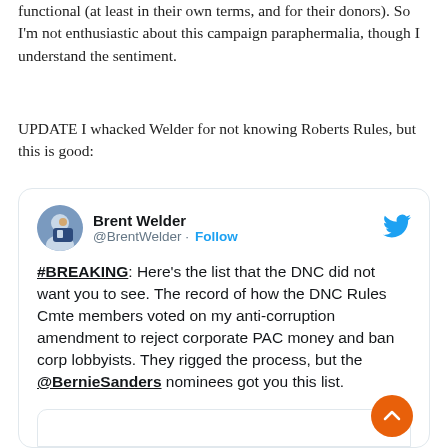functional (at least in their own terms, and for their donors). So I'm not enthusiastic about this campaign paraphermalia, though I understand the sentiment.
UPDATE I whacked Welder for not knowing Roberts Rules, but this is good:
[Figure (screenshot): Embedded tweet from @BrentWelder with Twitter bird logo, profile picture, Follow button, and tweet text: '#BREAKING: Here's the list that the DNC did not want you to see. The record of how the DNC Rules Cmte members voted on my anti-corruption amendment to reject corporate PAC money and ban corp lobbyists. They rigged the process, but the @BernieSanders nominees got you this list.' with a nested card at the bottom and an orange scroll-to-top button.]